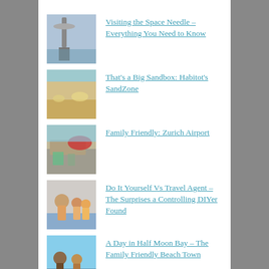Visiting the Space Needle – Everything You Need to Know
That's a Big Sandbox: Habitot's SandZone
Family Friendly: Zurich Airport
Do It Yourself Vs Travel Agent – The Surprises a Controlling DIYer Found
A Day in Half Moon Bay – The Family Friendly Beach Town
Categories
Select Category